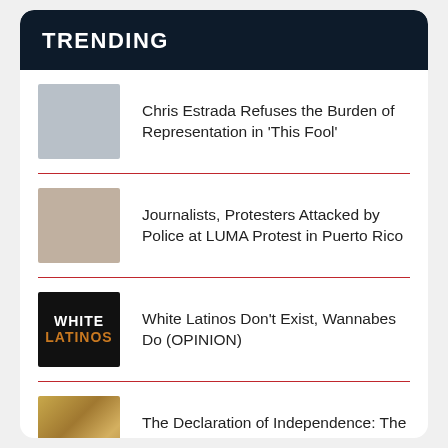TRENDING
Chris Estrada Refuses the Burden of Representation in 'This Fool'
Journalists, Protesters Attacked by Police at LUMA Protest in Puerto Rico
White Latinos Don't Exist, Wannabes Do (OPINION)
The Declaration of Independence: The Full Text in English.... and Spanish
The Case FOR 'Latinx': Why Intersectionality Is Not a Choice